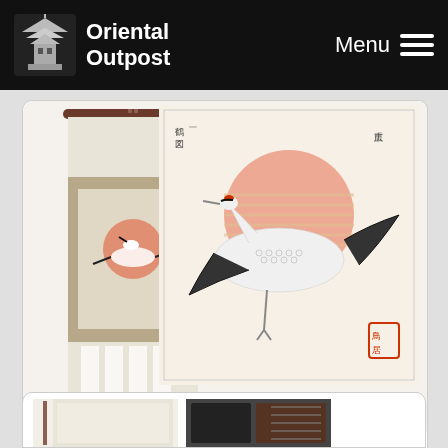Oriental Outpost | Menu
[Figure (photo): Product image: Japanese crane woodblock print wall scroll and a full-size crane woodblock print side by side]
Antique-Style Japanese Crane Woodblock Print Repro Wall Scroll
Gallery Price: $96.00
Your Price: $52.88
More Info
[Figure (other): Add to cart button icon with arrow and shopping cart]
[Figure (photo): Partial product image at bottom: appears to be another wall scroll and a book/calligraphy set]